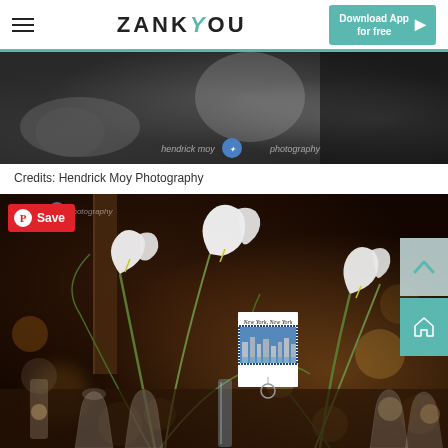ZANKYOU — Download App for free
[Figure (photo): Black and white wedding photo with hendrick moy photography watermark]
Credits: Hendrick Moy Photography
[Figure (photo): Color photo of elegant wedding table centerpiece with calla lilies, glassware, candles, and a New York postcard table number card. Pinterest Save button overlay at top left.]